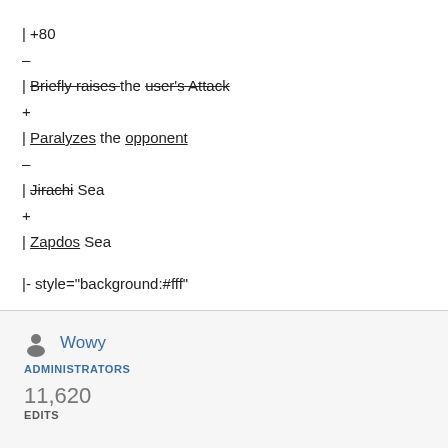| +80
–
| Briefly raises the user's Attack
+
| Paralyzes the opponent
–
| Jirachi Sea
+
| Zapdos Sea
|- style="background:#fff"
Wowy
ADMINISTRATORS
11,620
EDITS